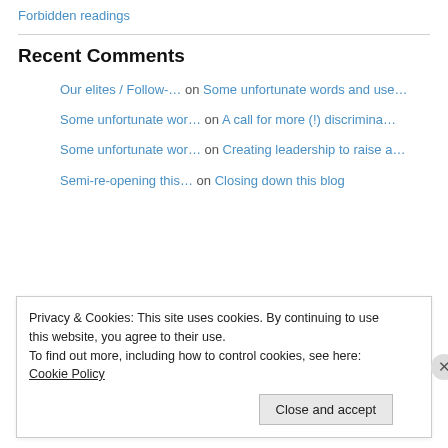Forbidden readings
Recent Comments
Our elites / Follow-… on Some unfortunate words and use…
Some unfortunate wor… on A call for more (!) discrimina…
Some unfortunate wor… on Creating leadership to raise a…
Semi-re-opening this… on Closing down this blog
Privacy & Cookies: This site uses cookies. By continuing to use this website, you agree to their use. To find out more, including how to control cookies, see here: Cookie Policy
Close and accept